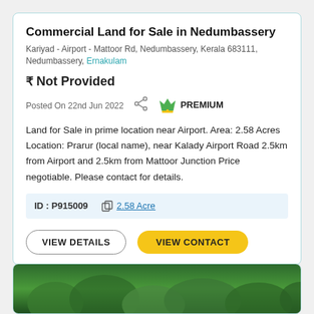Commercial Land for Sale in Nedumbassery
Kariyad - Airport - Mattoor Rd, Nedumbassery, Kerala 683111, Nedumbassery, Ernakulam
₹ Not Provided
Posted On 22nd Jun 2022
PREMIUM
Land for Sale in prime location near Airport. Area: 2.58 Acres Location: Prarur (local name), near Kalady Airport Road 2.5km from Airport and 2.5km from Mattoor Junction Price negotiable. Please contact for details.
ID : P915009    2.58 Acre
VIEW DETAILS   VIEW CONTACT
[Figure (photo): Aerial or ground-level photo of green forest/trees land area]